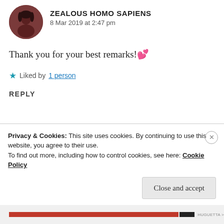ZEALOUS HOMO SAPIENS
8 Mar 2019 at 2:47 pm
Thank you for your best remarks! 💕
★ Liked by 1 person
REPLY
HUGUETTA
8 Mar 2019 at 2:48 pm
Privacy & Cookies: This site uses cookies. By continuing to use this website, you agree to their use.
To find out more, including how to control cookies, see here: Cookie Policy
Close and accept